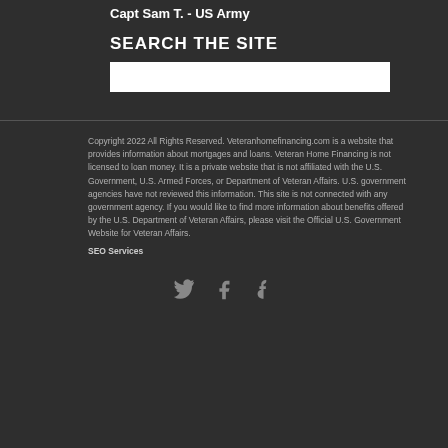Capt Sam T. - US Army
SEARCH THE SITE
Copyright 2022 All Rights Reserved. Veteranhomefinancing.com is a website that provides information about mortgages and loans. Veteran Home Financing is not licensed to loan money. It is a private website that is not affiliated with the U.S. Government, U.S. Armed Forces, or Department of Veteran Affairs. U.S. government agencies have not reviewed this information. This site is not connected with any government agency. If you would like to find more information about benefits offered by the U.S. Department of Veteran Affairs, please visit the Official U.S. Government Website for Veteran Affairs.
SEO Services
[Figure (other): Social media icons: Twitter bird icon, Facebook f icon, Tumblr t icon]